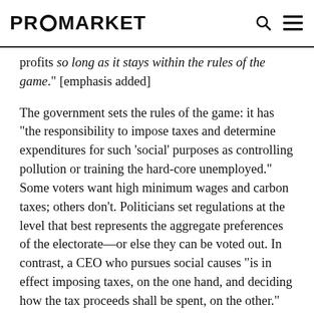PROMARKET
profits so long as it stays within the rules of the game." [emphasis added]
The government sets the rules of the game: it has “the responsibility to impose taxes and determine expenditures for such ‘social’ purposes as controlling pollution or training the hard-core unemployed.” Some voters want high minimum wages and carbon taxes; others don’t. Politicians set regulations at the level that best represents the aggregate preferences of the electorate—or else they can be voted out. In contrast, a CEO who pursues social causes “is in effect imposing taxes, on the one hand, and deciding how the tax proceeds shall be spent, on the other.” She may pursue